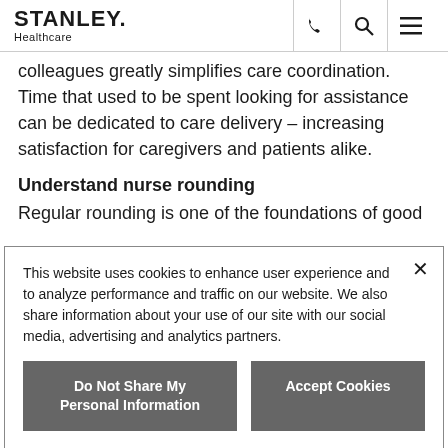STANLEY. Healthcare
colleagues greatly simplifies care coordination. Time that used to be spent looking for assistance can be dedicated to care delivery – increasing satisfaction for caregivers and patients alike.
Understand nurse rounding
Regular rounding is one of the foundations of good
This website uses cookies to enhance user experience and to analyze performance and traffic on our website. We also share information about your use of our site with our social media, advertising and analytics partners.
Do Not Share My Personal Information
Accept Cookies